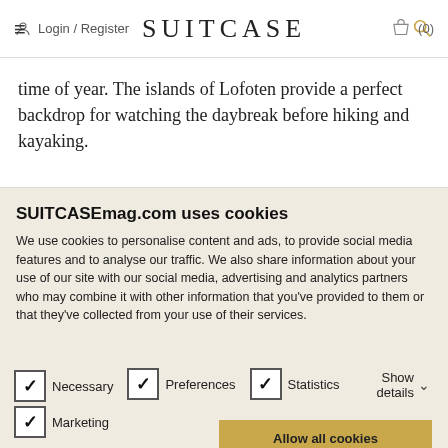Login / Register   SUITCASE   (0)
time of year. The islands of Lofoten provide a perfect backdrop for watching the daybreak before hiking and kayaking.
SUITCASEmag.com uses cookies
We use cookies to personalise content and ads, to provide social media features and to analyse our traffic. We also share information about your use of our site with our social media, advertising and analytics partners who may combine it with other information that you've provided to them or that they've collected from your use of their services.
Allow all cookies
Allow selection
Use necessary cookies only
Necessary
Marketing
Preferences
Statistics
Show details